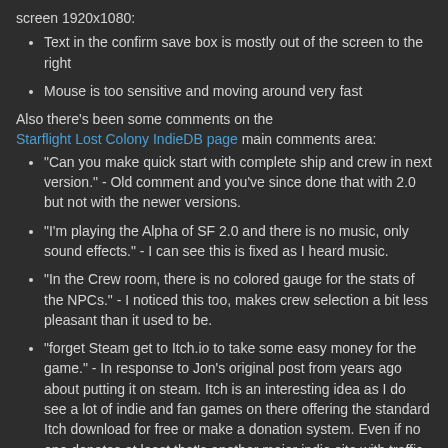screen 1920x1080:
Text in the confirm save box is mostly out of the screen to the right
Mouse is too sensitive and moving around very fast
Also there's been some comments on the Starflight Lost Colony IndieDB page main comments area:
"Can you make quick start with complete ship and crew in next version." - Old comment and you've since done that with 2.0 but not with the newer versions.
"I'm playing the Alpha of SF 2.0 and there is no music, only sound effects." - I can see this is fixed as I heard music.
"In the Crew room, there is no colored gauge for the stats of the NPCs." - I noticed this too, makes crew selection a bit less pleasant than it used to be.
"forget Steam get to Itch.io to take some easy money for the game." - In response to Jon's original post from years ago about putting it on steam. Itch is an interesting idea as I do see a lot of indie and fan games on there offering the standard Itch download for free or make a donation system. Even if no one donates at least that's another major indie site with traffic that could get you more testers and players so it might be of interest to you and Jon. However I suspect accepting donations for a fan game would brok